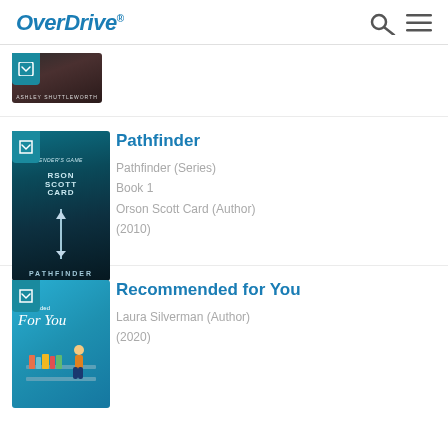OverDrive
[Figure (illustration): Partially visible book cover with dark tones, text 'ASHLEY SHUTTLEWORTH' visible at bottom]
[Figure (illustration): Book cover for Pathfinder by Orson Scott Card - dark teal/blue fantasy cover with sword]
Pathfinder
Pathfinder (Series)
Book 1
Orson Scott Card (Author)
(2010)
[Figure (illustration): Book cover for Recommended for You - bright blue cover with illustrated characters near bookshelf]
Recommended for You
Laura Silverman (Author)
(2020)